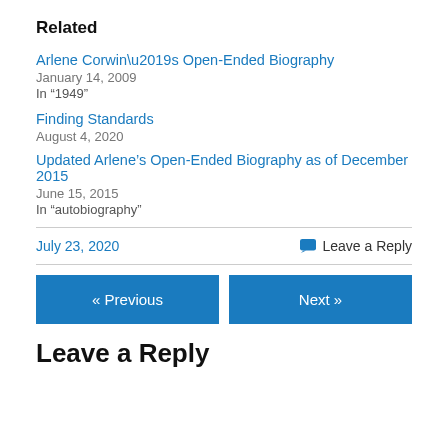Related
Arlene Corwin’s Open-Ended Biography
January 14, 2009
In “1949”
Finding Standards
August 4, 2020
Updated Arlene’s Open-Ended Biography as of December 2015
June 15, 2015
In “autobiography”
July 23, 2020
Leave a Reply
« Previous
Next »
Leave a Reply